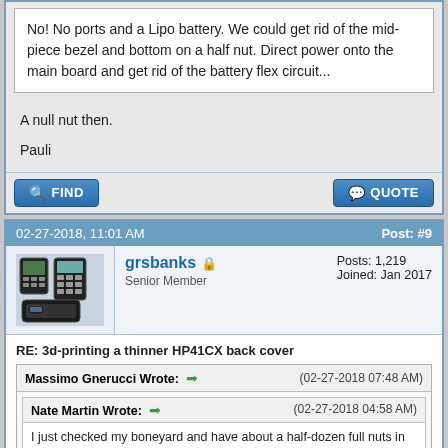No! No ports and a Lipo battery. We could get rid of the mid-piece bezel and bottom on a half nut. Direct power onto the main board and get rid of the battery flex circuit...
A null nut then.
Pauli
02-27-2018, 11:01 AM   Post: #9
grsbanks
Senior Member
Posts: 1,219
Joined: Jan 2017
RE: 3d-printing a thinner HP41CX back cover
Massimo Gnerucci Wrote:  ➡  (02-27-2018 07:48 AM)
Nate Martin Wrote:  ➡  (02-27-2018 04:58 AM)
I just checked my boneyard and have about a half-dozen full nuts in various states of repair but no half nuts.
Isn't a half-dozen full nuts = a dozen half nuts?